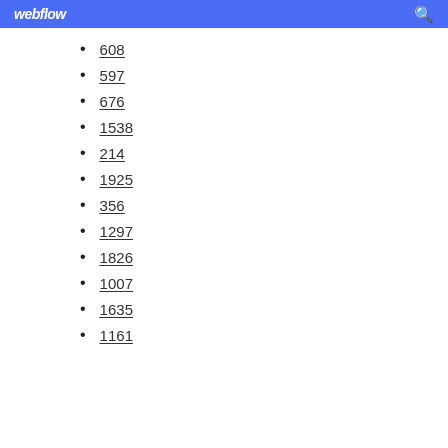webflow
608
597
676
1538
214
1925
356
1297
1826
1007
1635
1161